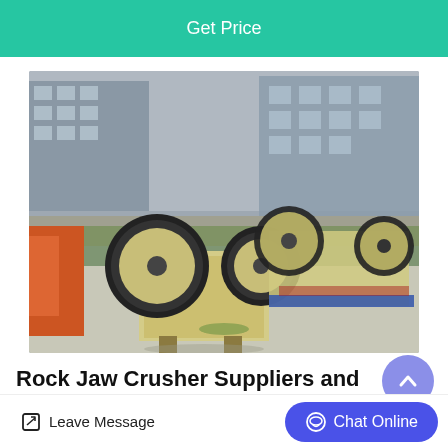Get Price
[Figure (photo): Outdoor photograph of rock jaw crusher machines (yellow/cream colored heavy industrial crushing equipment with large flywheels) sitting on a concrete surface with a wall and buildings in the background. An orange machine is visible on the left side.]
Rock Jaw Crusher Suppliers and Manufact...
Rock Jaw Crusher for Sale by R
Leave Message
Chat Online